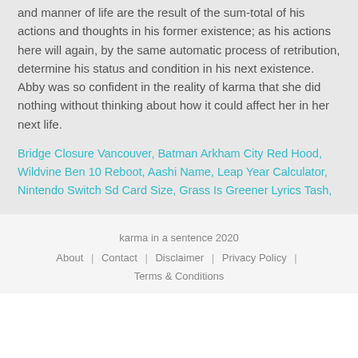and manner of life are the result of the sum-total of his actions and thoughts in his former existence; as his actions here will again, by the same automatic process of retribution, determine his status and condition in his next existence. Abby was so confident in the reality of karma that she did nothing without thinking about how it could affect her in her next life.
Bridge Closure Vancouver, Batman Arkham City Red Hood, Wildvine Ben 10 Reboot, Aashi Name, Leap Year Calculator, Nintendo Switch Sd Card Size, Grass Is Greener Lyrics Tash,
karma in a sentence 2020 | About | Contact | Disclaimer | Privacy Policy | Terms & Conditions